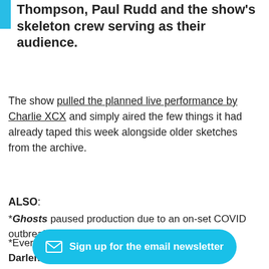Thompson, Paul Rudd and the show's skeleton crew serving as their audience.
The show pulled the planned live performance by Charlie XCX and simply aired the few things it had already taped this week alongside older sketches from the archive.
ALSO:
*Ghosts paused production due to an on-set COVID outbreak. Read: Variety.
*Every year from 1986-2014 Darlene Love performed her song Christmas (Baby Please Come Home). When [text obscured by button] took the annua[l] [text obscured] cancel this year after her guitarist caught the virus.
[Figure (other): Sign up for the email newsletter button overlay in cyan/blue color with envelope icon]